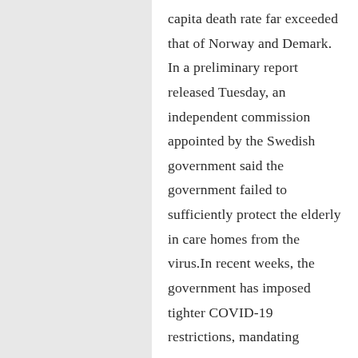capita death rate far exceeded that of Norway and Demark. In a preliminary report released Tuesday, an independent commission appointed by the Swedish government said the government failed to sufficiently protect the elderly in care homes from the virus.In recent weeks, the government has imposed tighter COVID-19 restrictions, mandating